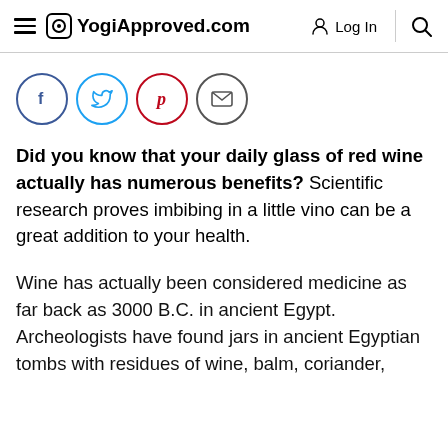YogiApproved.com — Log In — Search
[Figure (illustration): Social sharing buttons: Facebook (blue circle), Twitter (cyan circle), Pinterest (red circle), Email (gray circle)]
Did you know that your daily glass of red wine actually has numerous benefits? Scientific research proves imbibing in a little vino can be a great addition to your health.
Wine has actually been considered medicine as far back as 3000 B.C. in ancient Egypt. Archeologists have found jars in ancient Egyptian tombs with residues of wine, balm, coriander,